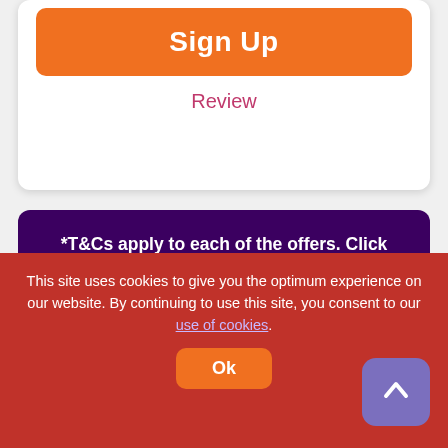Sign Up
Review
*T&Cs apply to each of the offers. Click “Sign Up” for more details. Please gamble responsibly! You must be 18+.
Minimum Deposit Amounts
£1 Deposit Casinos
This site uses cookies to give you the optimum experience on our website. By continuing to use this site, you consent to our use of cookies.
Ok